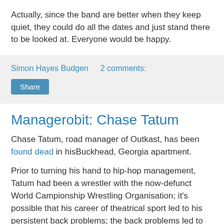Actually, since the band are better when they keep quiet, they could do all the dates and just stand there to be looked at. Everyone would be happy.
Simon Hayes Budgen    2 comments:
Share
Managerobit: Chase Tatum
Chase Tatum, road manager of Outkast, has been found dead in hisBuckhead, Georgia apartment.
Prior to turning his hand to hip-hop management, Tatum had been a wrestler with the now-defunct World Campionship Wrestling Organisation; it's possible that his career of theatrical sport led to his persistent back problems; the back problems led to surgery; the surgery led to painkillers and, sadly, an apparently accidental overdose of painkillers led to his death.